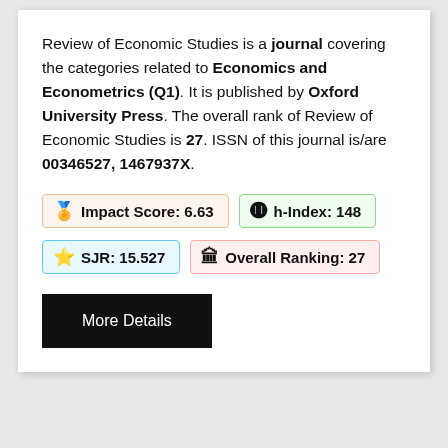Review of Economic Studies is a journal covering the categories related to Economics and Econometrics (Q1). It is published by Oxford University Press. The overall rank of Review of Economic Studies is 27. ISSN of this journal is/are 00346527, 1467937X.
Impact Score: 6.63  h-Index: 148  SJR: 15.527  Overall Ranking: 27
More Details